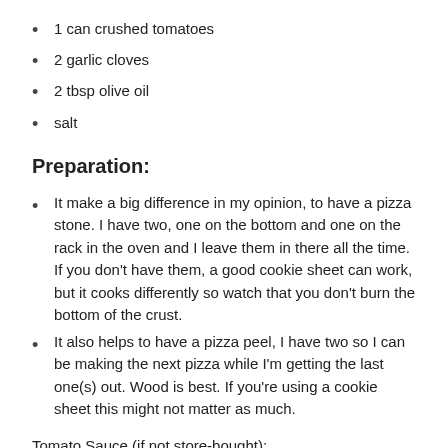1 can crushed tomatoes
2 garlic cloves
2 tbsp olive oil
salt
Preparation:
It make a big difference in my opinion, to have a pizza stone. I have two, one on the bottom and one on the rack in the oven and I leave them in there all the time. If you don't have them, a good cookie sheet can work, but it cooks differently so watch that you don't burn the bottom of the crust.
It also helps to have a pizza peel, I have two so I can be making the next pizza while I'm getting the last one(s) out. Wood is best. If you're using a cookie sheet this might not matter as much.
Tomato Sauce (if not store-bought):